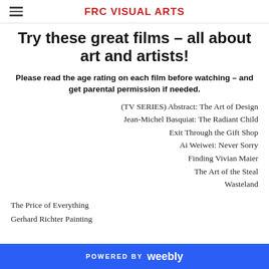FRC VISUAL ARTS
Try these great films – all about art and artists!
Please read the age rating on each film before watching – and get parental permission if needed.
(TV SERIES) Abstract: The Art of Design
Jean-Michel Basquiat: The Radiant Child
Exit Through the Gift Shop
Ai Weiwei: Never Sorry
Finding Vivian Maier
The Art of the Steal
Wasteland
The Price of Everything
Gerhard Richter Painting
POWERED BY weebly